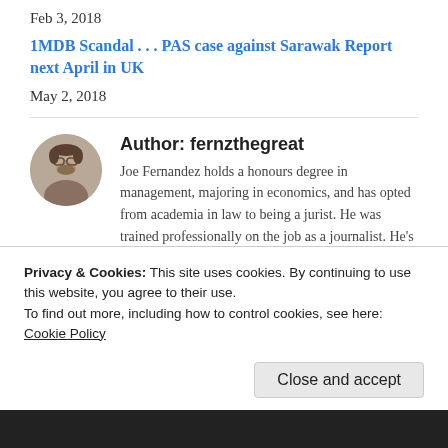Feb 3, 2018
1MDB Scandal . . . PAS case against Sarawak Report next April in UK
May 2, 2018
Author: fernzthegreat
Joe Fernandez holds a honours degree in management, majoring in economics, and has opted from academia in law to being a jurist. He was trained professionally on the job as a journalist. He's a longtime Borneo watcher,
Privacy & Cookies: This site uses cookies. By continuing to use this website, you agree to their use.
To find out more, including how to control cookies, see here:
Cookie Policy
Close and accept